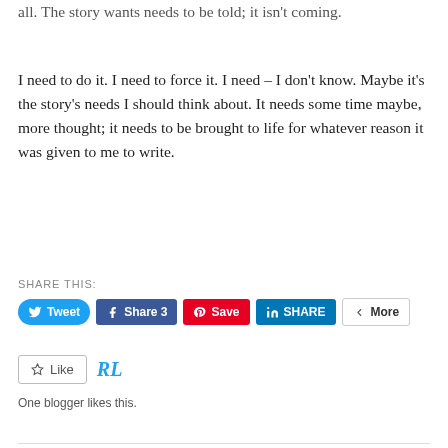all. The story wants needs to be told; it isn't coming.
I need to do it. I need to force it. I need – I don't know. Maybe it's the story's needs I should think about. It needs some time maybe, more thought; it needs to be brought to life for whatever reason it was given to me to write.
SHARE THIS:
[Figure (screenshot): Social share buttons: Tweet (Twitter, blue pill), Share 3 (Facebook, dark blue), Save (Pinterest, red), SHARE (LinkedIn, blue), More (grey outlined)]
[Figure (screenshot): Like button with star icon, and RL monogram logo in teal/cyan]
One blogger likes this.